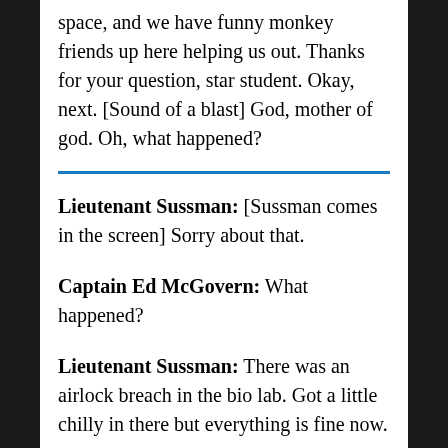space, and we have funny monkey friends up here helping us out. Thanks for your question, star student. Okay, next. [Sound of a blast] God, mother of god. Oh, what happened?
Lieutenant Sussman: [Sussman comes in the screen] Sorry about that.
Captain Ed McGovern: What happened?
Lieutenant Sussman: There was an airlock breach in the bio lab. Got a little chilly in there but everything is fine now.
Captain Ed McGovern: Okay. Are the